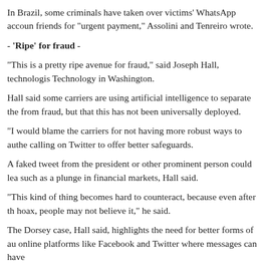In Brazil, some criminals have taken over victims' WhatsApp accoun friends for "urgent payment," Assolini and Tenreiro wrote.
- 'Ripe' for fraud -
"This is a pretty ripe avenue for fraud," said Joseph Hall, technologis Technology in Washington.
Hall said some carriers are using artificial intelligence to separate the from fraud, but that this has not been universally deployed.
"I would blame the carriers for not having more robust ways to authe calling on Twitter to offer better safeguards.
A faked tweet from the president or other prominent person could lea such as a plunge in financial markets, Hall said.
"This kind of thing becomes hard to counteract, because even after th hoax, people may not believe it," he said.
The Dorsey case, Hall said, highlights the need for better forms of au online platforms like Facebook and Twitter where messages can have
This could involve a physical key that plugs into a device or a softwa Authenticator, Hall noted.